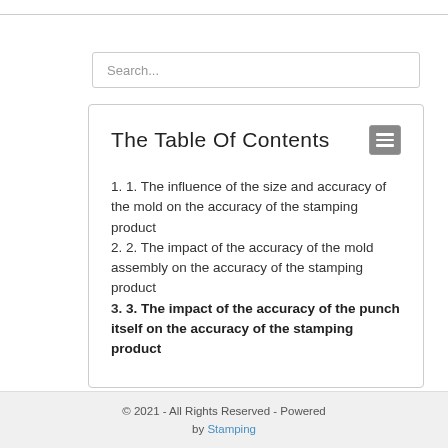[Figure (screenshot): Search input box with placeholder text 'Search...']
The Table Of Contents
1. 1. The influence of the size and accuracy of the mold on the accuracy of the stamping product
2. 2. The impact of the accuracy of the mold assembly on the accuracy of the stamping product
3. 3. The impact of the accuracy of the punch itself on the accuracy of the stamping product
© 2021 - All Rights Reserved - Powered by Stamping